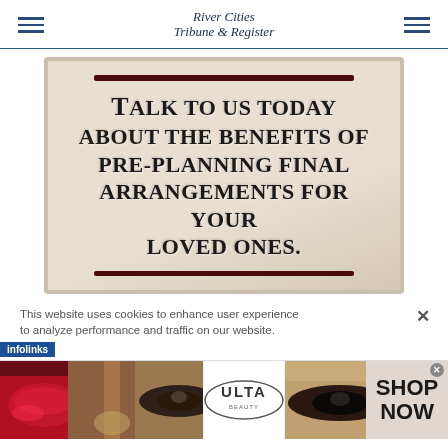River Cities Tribune & Register
[Figure (infographic): Advertisement: 'Talk to us today about the benefits of pre-planning final arrangements for your loved ones.' displayed in a decorative bordered box with dark red horizontal rules.]
This website uses cookies to enhance user experience to analyze performance and traffic on our website.
[Figure (infographic): Infolinks labeled ad strip showing makeup/cosmetics images, ULTA Beauty logo, and 'SHOP NOW' call to action.]